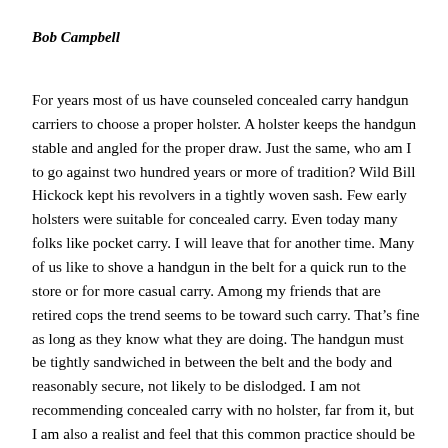Bob Campbell
For years most of us have counseled concealed carry handgun carriers to choose a proper holster. A holster keeps the handgun stable and angled for the proper draw. Just the same, who am I to go against two hundred years or more of tradition? Wild Bill Hickock kept his revolvers in a tightly woven sash. Few early holsters were suitable for concealed carry. Even today many folks like pocket carry. I will leave that for another time. Many of us like to shove a handgun in the belt for a quick run to the store or for more casual carry. Among my friends that are retired cops the trend seems to be toward such carry. That’s fine as long as they know what they are doing. The handgun must be tightly sandwiched in between the belt and the body and reasonably secure, not likely to be dislodged. I am not recommending concealed carry with no holster, far from it, but I am also a realist and feel that this common practice should be discussed.